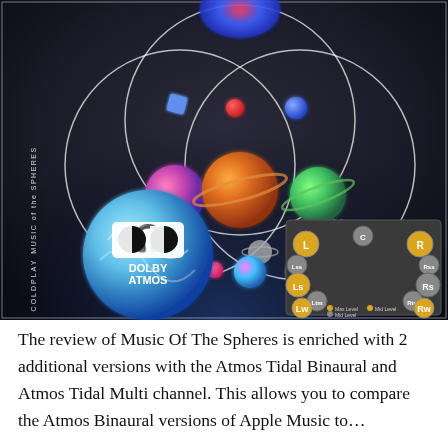[Figure (illustration): Album artwork for Coldplay's 'Music of the Spheres' showing concentric circles with colorful planet-like spheres on a dark background, with a Dolby Atmos logo sphere in the lower left and a surround sound channel diagram in the lower right.]
The review of Music Of The Spheres is enriched with 2 additional versions with the Atmos Tidal Binaural and Atmos Tidal Multi channel. This allows you to compare the Atmos Binaural versions of Apple Music to...